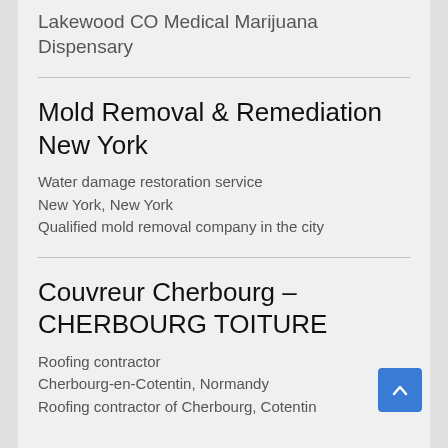Lakewood CO Medical Marijuana Dispensary
Mold Removal & Remediation New York
Water damage restoration service
New York, New York
Qualified mold removal company in the city
Couvreur Cherbourg – CHERBOURG TOITURE
Roofing contractor
Cherbourg-en-Cotentin, Normandy
Roofing contractor of Cherbourg, Cotentin